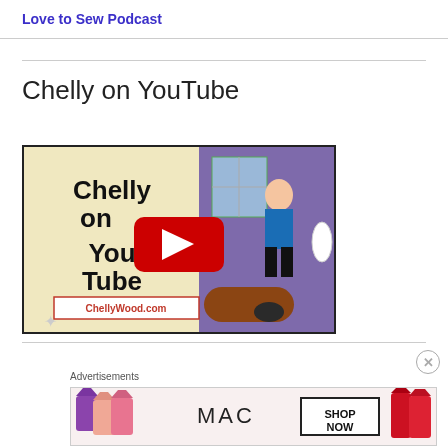Love to Sew Podcast
Chelly on YouTube
[Figure (screenshot): YouTube video thumbnail for 'Chelly on YouTube' by ChellyWood.com, showing a play button and a doll crafting scene]
Advertisements
[Figure (photo): MAC Cosmetics advertisement banner with lipsticks and 'SHOP NOW' button]